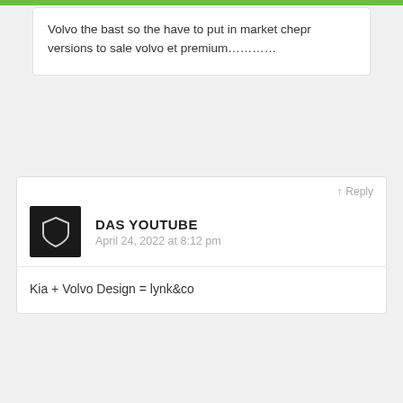Volvo the bast so the have to put in market chepr versions to sale volvo et premium............
↑ Reply
DAS YOUTUBE
April 24, 2022 at 8:12 pm
Kia + Volvo Design = lynk&co
↑ Reply
DENIS RO
April 24, 2022 at 8:12 pm
Thanks for this review 🙁